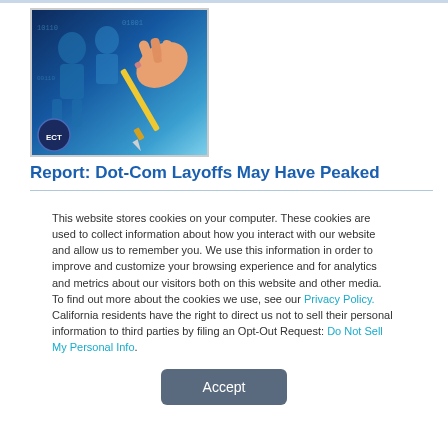[Figure (photo): ECT News Network logo image showing blue digital figures with a hand holding a pencil, with ECT badge in corner]
Report: Dot-Com Layoffs May Have Peaked
This website stores cookies on your computer. These cookies are used to collect information about how you interact with our website and allow us to remember you. We use this information in order to improve and customize your browsing experience and for analytics and metrics about our visitors both on this website and other media. To find out more about the cookies we use, see our Privacy Policy. California residents have the right to direct us not to sell their personal information to third parties by filing an Opt-Out Request: Do Not Sell My Personal Info.
Accept